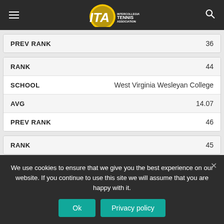[Figure (logo): ITA Intercollegiate Tennis Association logo with navigation bar]
| Field | Value |
| --- | --- |
| PREV RANK | 36 |
| Field | Value |
| --- | --- |
| RANK | 44 |
| SCHOOL | West Virginia Wesleyan College |
| AVG | 14.07 |
| PREV RANK | 46 |
| Field | Value |
| --- | --- |
| RANK | 45 |
We use cookies to ensure that we give you the best experience on our website. If you continue to use this site we will assume that you are happy with it.